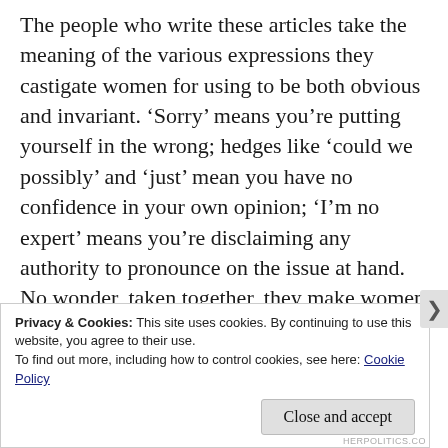The people who write these articles take the meaning of the various expressions they castigate women for using to be both obvious and invariant. ‘Sorry’ means you’re putting yourself in the wrong; hedges like ‘could we possibly’ and ‘just’ mean you have no confidence in your own opinion; ‘I’m no expert’ means you’re disclaiming any authority to pronounce on the issue at hand. No wonder, taken together, they make women sound ‘weak and ineffective’!
Privacy & Cookies: This site uses cookies. By continuing to use this website, you agree to their use.
To find out more, including how to control cookies, see here: Cookie Policy
Close and accept